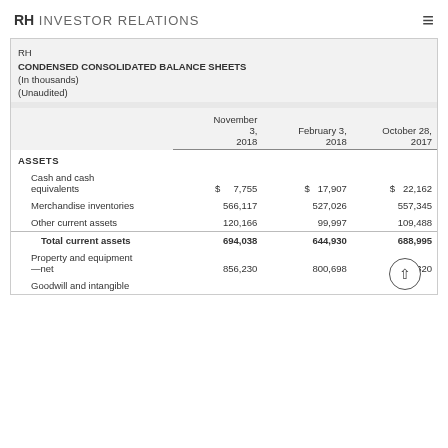RH INVESTOR RELATIONS
|  | November 3, 2018 | February 3, 2018 | October 28, 2017 |
| --- | --- | --- | --- |
| ASSETS |  |  |  |
| Cash and cash equivalents | $ 7,755 | $ 17,907 | $ 22,162 |
| Merchandise inventories | 566,117 | 527,026 | 557,345 |
| Other current assets | 120,166 | 99,997 | 109,488 |
| Total current assets | 694,038 | 644,930 | 688,995 |
| Property and equipment—net | 856,230 | 800,698 | 778,320 |
| Goodwill and intangible |  |  |  |